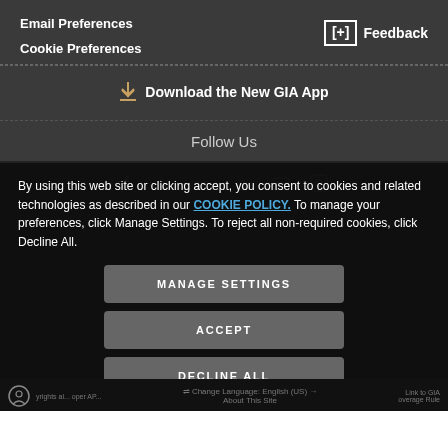Email Preferences
Cookie Preferences
[+] Feedback
Download the New GIA App
Follow Us
By using this web site or clicking accept, you consent to cookies and related technologies as described in our COOKIE POLICY. To manage your preferences, click Manage Settings. To reject all non-required cookies, click Decline All.
MANAGE SETTINGS
ACCEPT
DECLINE ALL
Change Language: English (US)
About This Site